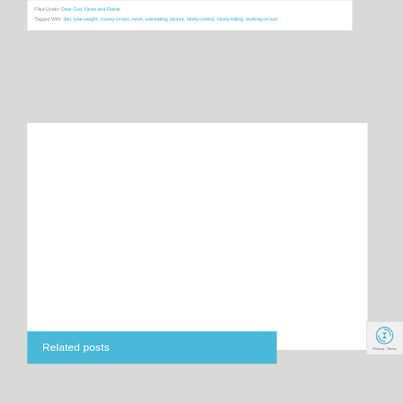Filed Under: Dear God, News and Feeds
Tagged With: diet, lose-weight, money-or-lost, news, overeating, picture, rarely-unkind, slowly-killing, working-on-not
Related posts